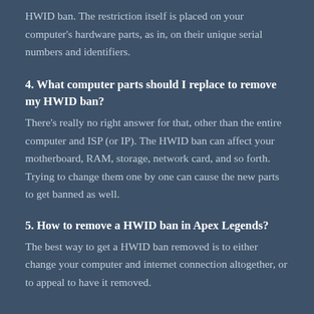HWID ban. The restriction itself is placed on your computer's hardware parts, as in, on their unique serial numbers and identifiers.
4. What computer parts should I replace to remove my HWID ban?
There's really no right answer for that, other than the entire computer and ISP (or IP). The HWID ban can affect your motherboard, RAM, storage, network card, and so forth. Trying to change them one by one can cause the new parts to get banned as well.
5. How to remove a HWID ban in Apex Legends?
The best way to get a HWID ban removed is to either change your computer and internet connection altogether, or to appeal to have it removed.